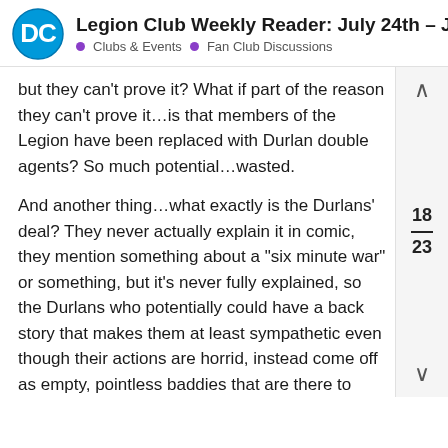Legion Club Weekly Reader: July 24th – J... • Clubs & Events • Fan Club Discussions
but they can't prove it? What if part of the reason they can't prove it…is that members of the Legion have been replaced with Durlan double agents? So much potential…wasted.
And another thing…what exactly is the Durlans' deal? They never actually explain it in comic, they mention something about a "six minute war" or something, but it's never fully explained, so the Durlans who potentially could have a back story that makes them at least sympathetic even though their actions are horrid, instead come off as empty, pointless baddies that are there to cause ruckus.
In thinking and writing this down, the more I think that this arc and this whole book feels like a good example of why the more casual comic book audience never really latched onto this iteration of the Legion. Levitz just seems to be